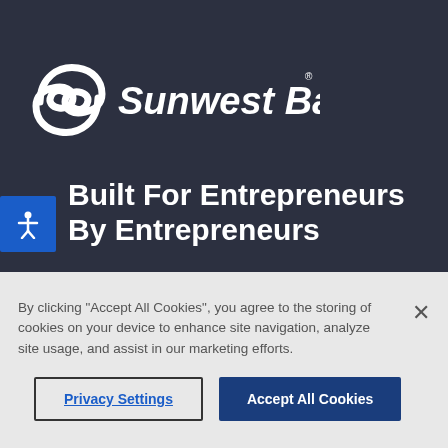[Figure (logo): Sunwest Bank logo with stylized S icon and bold white text on dark background]
Built For Entrepreneurs By Entrepreneurs
By clicking “Accept All Cookies”, you agree to the storing of cookies on your device to enhance site navigation, analyze site usage, and assist in our marketing efforts.
Privacy Settings
Accept All Cookies